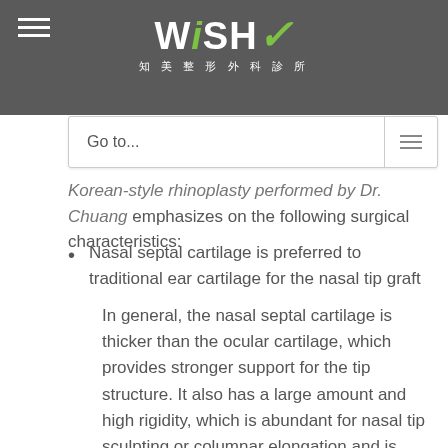WiSH 知美整形外科診所
lants or even total costal cartilage (autologous or ogenic rib) to elevate the nasal bridge, thus meeting the patients' expectations.
Go to...
Korean-style rhinoplasty performed by Dr. Chuang emphasizes on the following surgical characteristics:
Nasal septal cartilage is preferred to traditional ear cartilage for the nasal tip graft
In general, the nasal septal cartilage is thicker than the ocular cartilage, which provides stronger support for the tip structure. It also has a large amount and high rigidity, which is abundant for nasal tip sculpting or columnar elongation and is more likely to reshape an